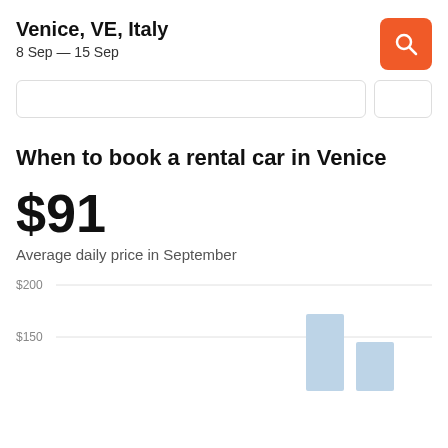Venice, VE, Italy
8 Sep — 15 Sep
When to book a rental car in Venice
$91
Average daily price in September
[Figure (bar-chart): Average daily price by month]